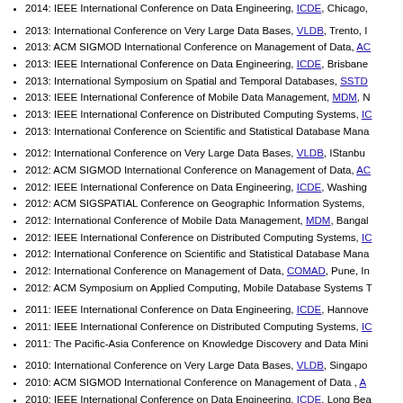2014: IEEE International Conference on Data Engineering, ICDE, Chicago,
2013: International Conference on Very Large Data Bases, VLDB, Trento, I
2013: ACM SIGMOD International Conference on Management of Data, AC
2013: IEEE International Conference on Data Engineering, ICDE, Brisbane
2013: International Symposium on Spatial and Temporal Databases, SSTD
2013: IEEE International Conference of Mobile Data Management, MDM, M
2013: IEEE International Conference on Distributed Computing Systems, IC
2013: International Conference on Scientific and Statistical Database Mana
2012: International Conference on Very Large Data Bases, VLDB, IStanbul
2012: ACM SIGMOD International Conference on Management of Data, AC
2012: IEEE International Conference on Data Engineering, ICDE, Washing
2012: ACM SIGSPATIAL Conference on Geographic Information Systems,
2012: International Conference of Mobile Data Management, MDM, Bangal
2012: IEEE International Conference on Distributed Computing Systems, IC
2012: International Conference on Scientific and Statistical Database Mana
2012: International Conference on Management of Data, COMAD, Pune, In
2012: ACM Symposium on Applied Computing, Mobile Database Systems T
2011: IEEE International Conference on Data Engineering, ICDE, Hannove
2011: IEEE International Conference on Distributed Computing Systems, IC
2011: The Pacific-Asia Conference on Knowledge Discovery and Data Mini
2010: International Conference on Very Large Data Bases, VLDB, Singapo
2010: ACM SIGMOD International Conference on Management of Data, A
2010: IEEE International Conference on Data Engineering, ICDE, Long Bea
2010: International Conference of Mobile Data Management, MDM, Kansas
2010: ACM International Conference on Information and Knowledge Manag
2010: International Conference on Scientific and Statistical Database Mana
2010: International Conference on Web-Age Information Management, WA
2010: International Conference on Management of Data, COMAD, Mahara
2010: ACM Symposium on Applied Computing, Mobile Database Systems